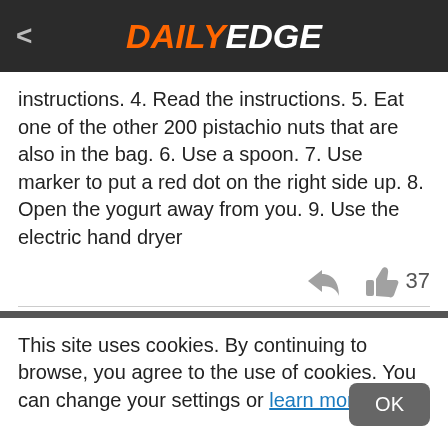DAILY EDGE
instructions. 4. Read the instructions. 5. Eat one of the other 200 pistachio nuts that are also in the bag. 6. Use a spoon. 7. Use marker to put a red dot on the right side up. 8. Open the yogurt away from you. 9. Use the electric hand dryer
37
This site uses cookies. By continuing to browse, you agree to the use of cookies. You can change your settings or learn more here.